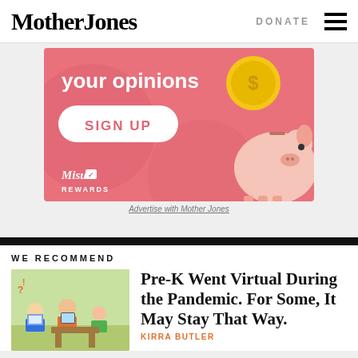Mother Jones | DONATE
[Figure (illustration): Advertisement banner with pink background showing 'your opinions', a SIGN UP button, a gold coin, a cartoon piggy bank, and Misu Rewards logo]
Advertise with Mother Jones
WE RECOMMEND
[Figure (illustration): Thumbnail illustration of children and adults doing virtual learning with laptops and tablets]
Pre-K Went Virtual During the Pandemic. For Some, It May Stay That Way.
KIRRA BUTLER